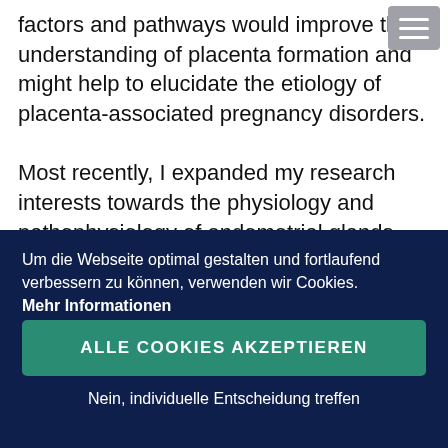factors and pathways would improve the understanding of placenta formation and might help to elucidate the etiology of placenta-associated pregnancy disorders.

Most recently, I expanded my research interests towards the physiology and pathophysiology of endometrial glands. Human endometrial glandular organoids allow for the first time in vitro cultivation of this cell population which helps to further study
Um die Webseite optimal gestalten und fortlaufend verbessern zu können, verwenden wir Cookies. Mehr Informationen
ALLE COOKIES AKZEPTIEREN
Nein, individuelle Entscheidung treffen